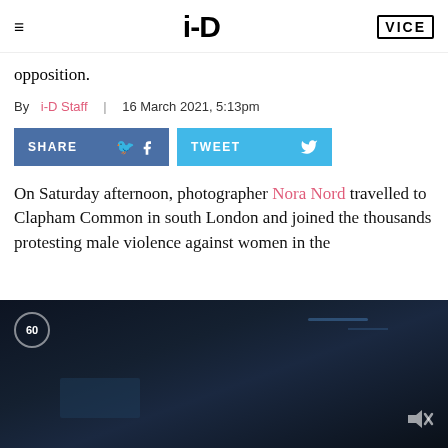i-D | VICE
opposition.
By i-D Staff  |  16 March 2021, 5:13pm
[Figure (other): Facebook SHARE button and Twitter TWEET button]
On Saturday afternoon, photographer Nora Nord travelled to Clapham Common in south London and joined the thousands protesting male violence against women in the
[Figure (photo): Dark video thumbnail showing a nighttime street scene with a timer circle showing 60 and a mute icon]